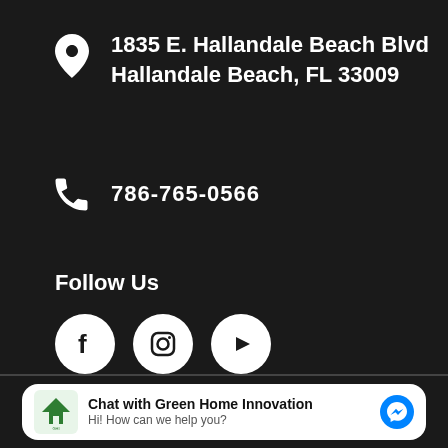1835 E. Hallandale Beach Blvd
Hallandale Beach, FL 33009
786-765-0566
Follow Us
[Figure (other): Three social media icons: Facebook, Instagram, YouTube — white circles on dark background]
[Figure (other): Chat widget: Green Home Innovation logo, text 'Chat with Green Home Innovation / Hi! How can we help you?', and Facebook Messenger icon]